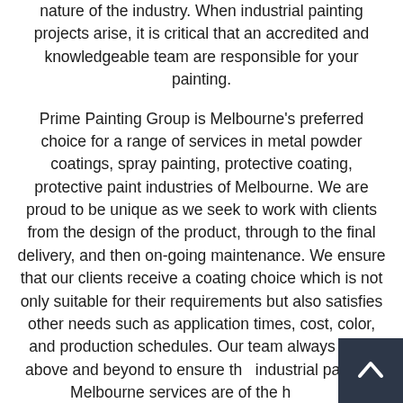nature of the industry. When industrial painting projects arise, it is critical that an accredited and knowledgeable team are responsible for your painting.
Prime Painting Group is Melbourne's preferred choice for a range of services in metal powder coatings, spray painting, protective coating, protective paint industries of Melbourne. We are proud to be unique as we seek to work with clients from the design of the product, through to the final delivery, and then on-going maintenance. We ensure that our clients receive a coating choice which is not only suitable for their requirements but also satisfies other needs such as application times, cost, color, and production schedules. Our team always goes above and beyond to ensure the industrial painting Melbourne services are of the highest